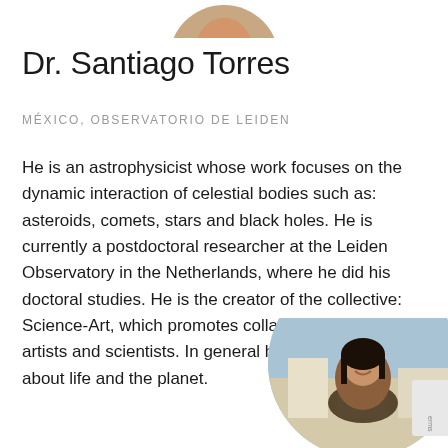[Figure (photo): Partial circular profile photo at the top center, cropped]
Dr. Santiago Torres
MÉXICO, OBSERVATORIO DE LEIDEN
He is an astrophysicist whose work focuses on the dynamic interaction of celestial bodies such as: asteroids, comets, stars and black holes. He is currently a postdoctoral researcher at the Leiden Observatory in the Netherlands, where he did his doctoral studies. He is the creator of the collective: Science-Art, which promotes collaboration between artists and scientists. In general he is passionate about life and the planet.
[Figure (photo): Circular profile photo of a woman smiling, with light blue sky background, positioned at bottom right]